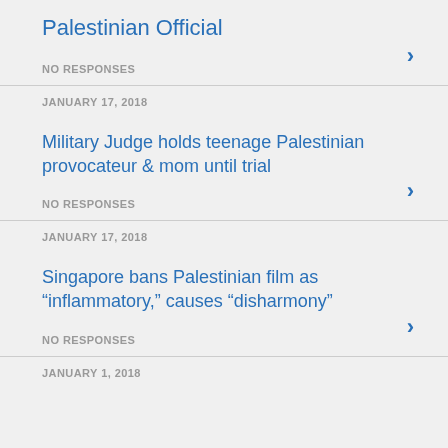Palestinian Official
NO RESPONSES
JANUARY 17, 2018
Military Judge holds teenage Palestinian provocateur & mom until trial
NO RESPONSES
JANUARY 17, 2018
Singapore bans Palestinian film as “inflammatory,” causes “disharmony”
NO RESPONSES
JANUARY 1, 2018